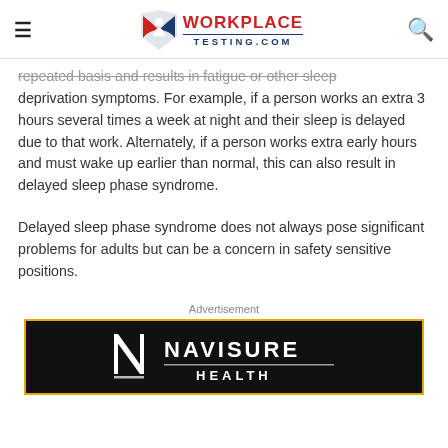WorkplaceTesting.com
repeated basis and results in fatigue or other sleep deprivation symptoms. For example, if a person works an extra 3 hours several times a week at night and their sleep is delayed due to that work. Alternately, if a person works extra early hours and must wake up earlier than normal, this can also result in delayed sleep phase syndrome.
Delayed sleep phase syndrome does not always pose significant problems for adults but can be a concern in safety sensitive positions.
Advertisement
[Figure (logo): Navisure Health advertisement banner with white logo on black background with gold border]